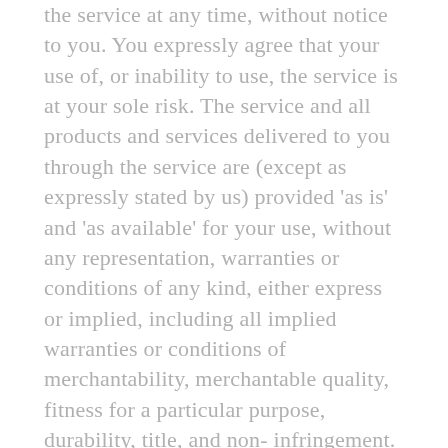the service at any time, without notice to you. You expressly agree that your use of, or inability to use, the service is at your sole risk. The service and all products and services delivered to you through the service are (except as expressly stated by us) provided 'as is' and 'as available' for your use, without any representation, warranties or conditions of any kind, either express or implied, including all implied warranties or conditions of merchantability, merchantable quality, fitness for a particular purpose, durability, title, and non-infringement. In no case shall Infinite-depths, our directors, officers, employees, affiliates, agents, contractors, interns, suppliers, service providers or licensors be liable for any injury, loss, claim, or any direct, indirect, incidental, punitive, special, or consequential damages of any kind, including, without limitation, lost profits, lost revenue, lost savings, loss of data, replacement costs, or any similar damages, whether based in contract, tort (including negligence), strict liability or otherwise, arising from your use of any of the service or any products procured using the service, or for any other claim related in any way to your use of the service or any product, including, but not limited to, any errors or omissions in any content, or any loss or damage of any kind incurred as a result of the use of the service or any content (or product) posted, transmitted, or otherwise made available via the service, even if advised of their possibility.